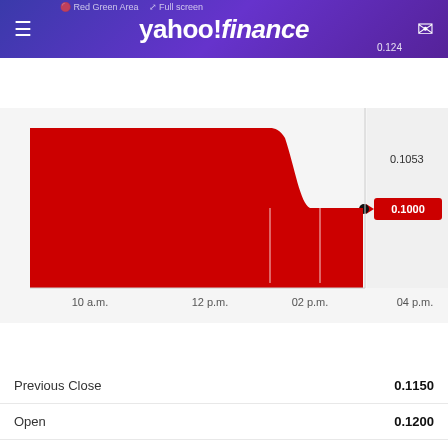[Figure (screenshot): Yahoo Finance mobile app header with hamburger menu, Yahoo Finance logo, and mail icon on purple gradient background]
Quote Lookup
[Figure (area-chart): Intraday stock price chart]
1D  5D  1M  6M  YTD  1Y  5Y  Max
|  |  |
| --- | --- |
| Previous Close | 0.1150 |
| Open | 0.1200 |
| Bid | 0.1000 x N/A |
| Ask | 0.1050 x N/A |